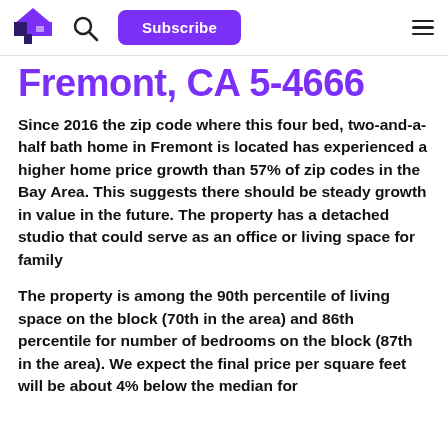Subscribe
Fremont, CA 5-4666
Since 2016 the zip code where this four bed, two-and-a-half bath home in Fremont is located has experienced a higher home price growth than 57% of zip codes in the Bay Area. This suggests there should be steady growth in value in the future. The property has a detached studio that could serve as an office or living space for family
The property is among the 90th percentile of living space on the block (70th in the area) and 86th percentile for number of bedrooms on the block (87th in the area). We expect the final price per square feet will be about 4% below the median for